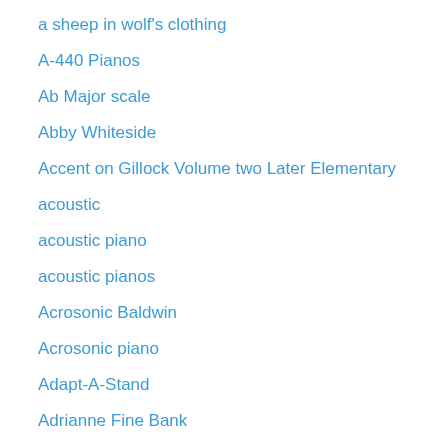a sheep in wolf's clothing
A-440 Pianos
Ab Major scale
Abby Whiteside
Accent on Gillock Volume two Later Elementary
acoustic
acoustic piano
acoustic pianos
Acrosonic Baldwin
Acrosonic piano
Adapt-A-Stand
Adrianne Fine Bank
adult beginner piano students
adult instruction
adult piano instruction
adult piano instructn
adult piano lessons
adult piano pupils
adult piano recital
adult piano student